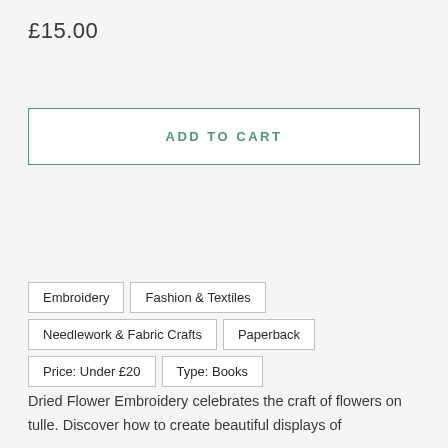£15.00
ADD TO CART
Embroidery
Fashion & Textiles
Needlework & Fabric Crafts
Paperback
Price: Under £20
Type: Books
Dried Flower Embroidery celebrates the craft of flowers on tulle. Discover how to create beautiful displays of